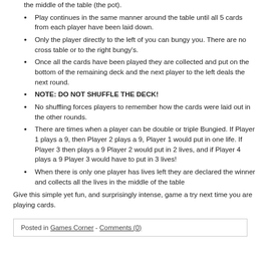the middle of the table (the pot).
Play continues in the same manner around the table until all 5 cards from each player have been laid down.
Only the player directly to the left of you can bungy you. There are no cross table or to the right bungy’s.
Once all the cards have been played they are collected and put on the bottom of the remaining deck and the next player to the left deals the next round.
NOTE: DO NOT SHUFFLE THE DECK!
No shuffling forces players to remember how the cards were laid out in the other rounds.
There are times when a player can be double or triple Bungied. If Player 1 plays a 9, then Player 2 plays a 9, Player 1 would put in one life. If Player 3 then plays a 9 Player 2 would put in 2 lives, and if Player 4 plays a 9 Player 3 would have to put in 3 lives!
When there is only one player has lives left they are declared the winner and collects all the lives in the middle of the table
Give this simple yet fun, and surprisingly intense, game a try next time you are playing cards.
Posted in Games Corner - Comments (0)